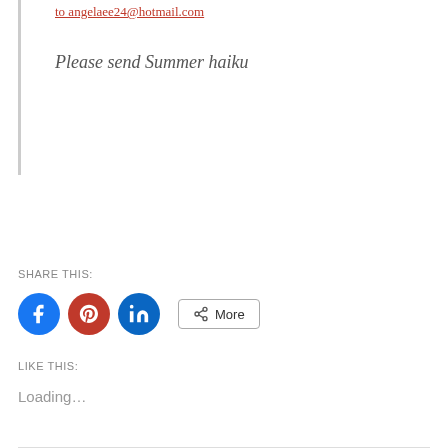to angelaee24@hotmail.com
Please send Summer haiku
SHARE THIS:
[Figure (other): Social share buttons: Facebook (blue circle), Pinterest (red circle), LinkedIn (blue circle), and a More button with share icon]
LIKE THIS:
Loading...